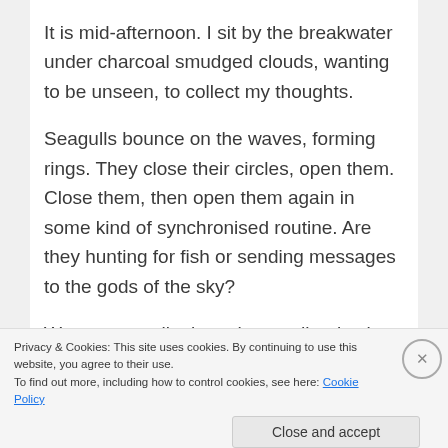It is mid-afternoon. I sit by the breakwater under charcoal smudged clouds, wanting to be unseen, to collect my thoughts.
Seagulls bounce on the waves, forming rings. They close their circles, open them. Close them, then open them again in some kind of synchronised routine. Are they hunting for fish or sending messages to the gods of the sky?
Water tern walk along the sandbanks, legs long as supermodels, pausing as the water begins to lap at their feet as if striking a pose, then turning to walk
Privacy & Cookies: This site uses cookies. By continuing to use this website, you agree to their use.
To find out more, including how to control cookies, see here: Cookie Policy
Close and accept